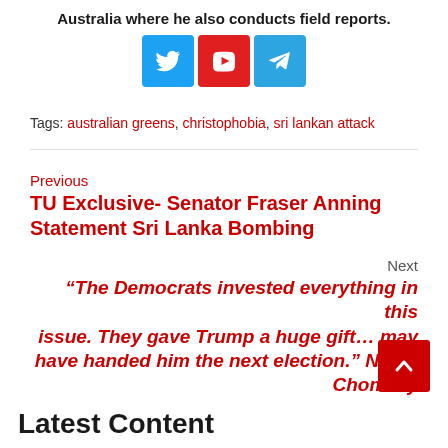Australia where he also conducts field reports.
[Figure (illustration): Three social media icons: Twitter (blue), YouTube (red), Telegram (blue)]
Tags: australian greens, christophobia, sri lankan attack
Previous
TU Exclusive- Senator Fraser Anning Statement Sri Lanka Bombing
Next
“The Democrats invested everything in this issue. They gave Trump a huge gift… may have handed him the next election.” Noam Chomsky
Latest Content